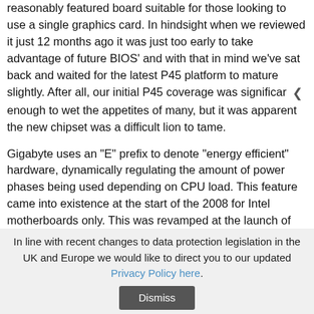reasonably featured board suitable for those looking to use a single graphics card. In hindsight when we reviewed it just 12 months ago it was just too early to take advantage of future BIOS' and with that in mind we've sat back and waited for the latest P45 platform to mature slightly. After all, our initial P45 coverage was significar enough to wet the appetites of many, but it was apparent the new chipset was a difficult lion to tame.
Gigabyte uses an "E" prefix to denote "energy efficient" hardware, dynamically regulating the amount of power phases being used depending on CPU load. This feature came into existence at the start of the 2008 for Intel motherboards only. This was revamped at the launch of P45 to become the Dynamic Energy Saver Advanced after initial feedback from users and reviewers wanting new features was taken on board.
In line with recent changes to data protection legislation in the UK and Europe we would like to direct you to our updated Privacy Policy here. Dismiss